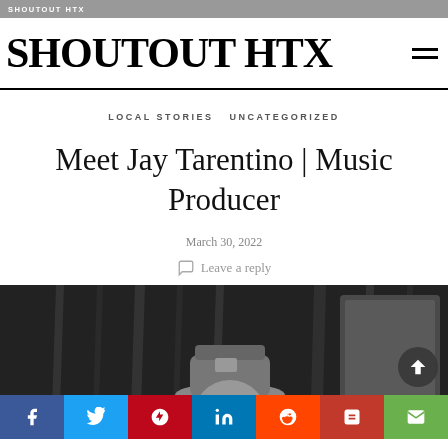SHOUTOUT HTX
Meet Jay Tarentino | Music Producer
LOCAL STORIES   UNCATEGORIZED
March 30, 2022
Leave a reply
[Figure (photo): Black and white photo of a person wearing a cap in a dark studio environment with monitor screens visible]